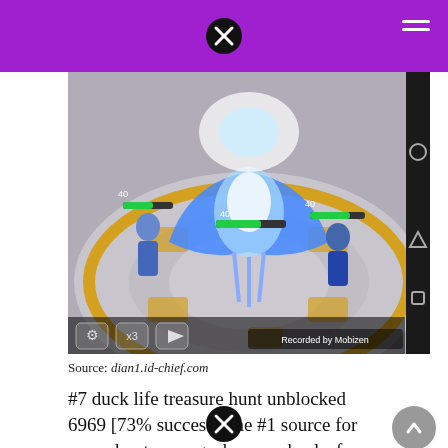[Figure (screenshot): Mobile game screenshot showing fantasy RPG battle scene with characters and a large blue bird creature on a circular arena. Bottom left shows settings, x3, and play buttons. Bottom right shows 'Recorded by Mobizen' watermark. Android navigation buttons visible on right side.]
Source: dian1.id-chief.com
#7 duck life treasure hunt unblocked 6969 [73% success. The #1 source for your shooters, rpgs, happy wheels, fun games, cool math games, free games, unblocked games, unblocked games 66, multiplayer, fun and more!